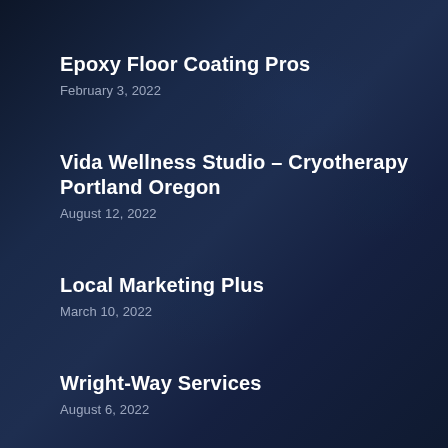Epoxy Floor Coating Pros
February 3, 2022
Vida Wellness Studio – Cryotherapy Portland Oregon
August 12, 2022
Local Marketing Plus
March 10, 2022
Wright-Way Services
August 6, 2022
The Gathering